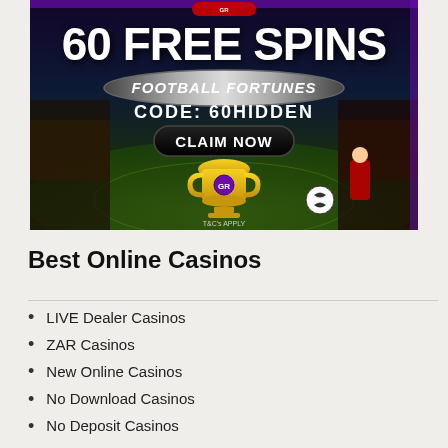[Figure (illustration): Casino advertisement banner showing '60 FREE SPINS' for Football Fortunes game with code 60HIDDEN and a CLAIM NOW button. Features a football stadium background, gold trophy, and purple/gold branding.]
Best Online Casinos
LIVE Dealer Casinos
ZAR Casinos
New Online Casinos
No Download Casinos
No Deposit Casinos
Mobile Casinos
Bitcoin Casinos